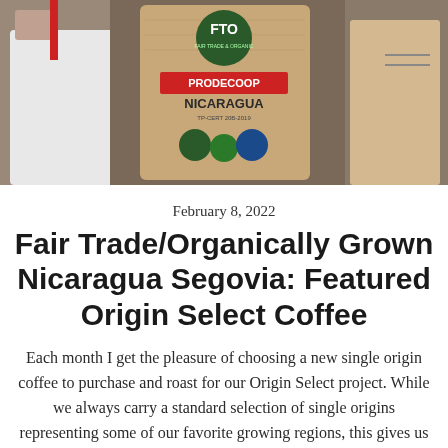[Figure (photo): Photo of people holding a large burlap coffee sack labeled FTO PRODECOOP NICARAGUA with certification logos]
February 8, 2022
Fair Trade/Organically Grown Nicaragua Segovia: Featured Origin Select Coffee
Each month I get the pleasure of choosing a new single origin coffee to purchase and roast for our Origin Select project. While we always carry a standard selection of single origins representing some of our favorite growing regions, this gives us the opportunity to highlight some